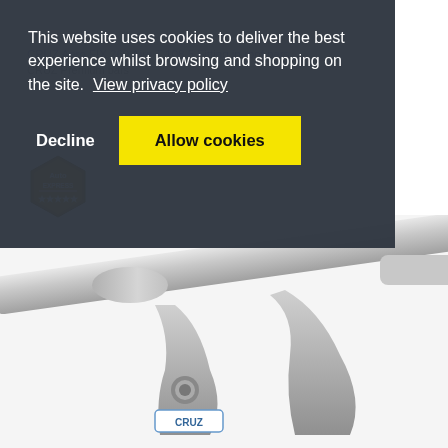CRUZ Aero FIX 260 Airo T 108.5 Fitting in roof bars
CRUZ Premium bars
[Figure (photo): Auto Express award badge logo]
[Figure (photo): CRUZ roof bar product photo showing silver aluminum aero bar mounted on bracket with CRUZ logo, viewed from side angle against white background]
This website uses cookies to deliver the best experience whilst browsing and shopping on the site.  View privacy policy
Decline
Allow cookies